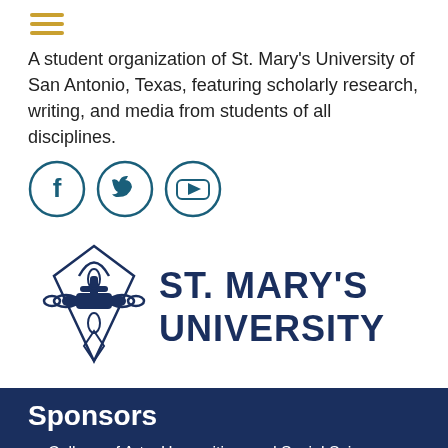[Figure (other): Hamburger/menu icon with three horizontal lines in gold/amber color]
A student organization of St. Mary's University of San Antonio, Texas, featuring scholarly research, writing, and media from students of all disciplines.
[Figure (other): Social media icons: Facebook, Twitter, YouTube — circular outline style in teal/dark blue]
[Figure (logo): St. Mary's University logo — decorative cross/shield emblem in dark blue on left, and 'ST. MARY'S UNIVERSITY' text in large dark blue letters on right]
Sponsors
College of Arts, Humanities, and Social Sciences, St. Mary's University
School of Science, Engineering and Technology, St. Mary's University